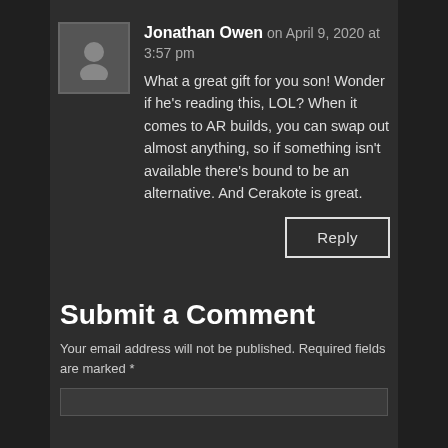Jonathan Owen on April 9, 2020 at 3:57 pm
What a great gift for you son! Wonder if he's reading this, LOL? When it comes to AR builds, you can swap out almost anything, so if something isn't available there's bound to be an alternative. And Cerakote is great.
Reply
Submit a Comment
Your email address will not be published. Required fields are marked *